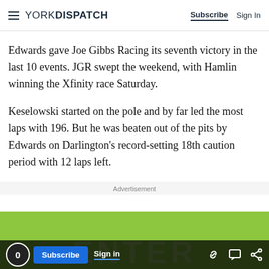YORK DISPATCH | Subscribe | Sign In
Edwards gave Joe Gibbs Racing its seventh victory in the last 10 events. JGR swept the weekend, with Hamlin winning the Xfinity race Saturday.
Keselowski started on the pole and by far led the most laps with 196. But he was beaten out of the pits by Edwards on Darlington's record-setting 18th caution period with 12 laps left.
Advertisement
[Figure (other): Green advertisement banner with bottom navigation bar showing Subscribe and Sign In buttons and share icons, with partial 'ENTER' text visible.]